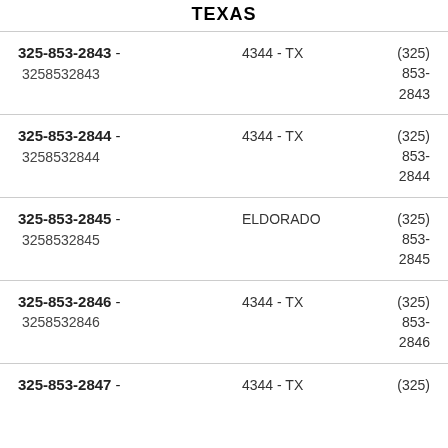TEXAS
325-853-2843 - 4344 - TX 3258532843 (325) 853-2843
325-853-2844 - 4344 - TX 3258532844 (325) 853-2844
325-853-2845 - ELDORADO 3258532845 (325) 853-2845
325-853-2846 - 4344 - TX 3258532846 (325) 853-2846
325-853-2847 - 4344 - TX (325)